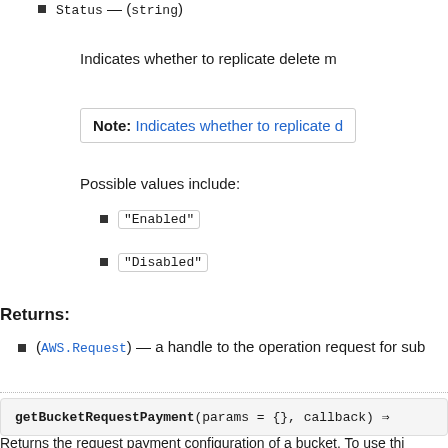Status — (string)
Indicates whether to replicate delete m
Note: Indicates whether to replicate d
Possible values include:
"Enabled"
"Disabled"
Returns:
(AWS.Request) — a handle to the operation request for sub
getBucketRequestPayment(params = {}, callback) ⇒
Returns the request payment configuration of a bucket. To use thi
The following operations are related to GetBucketRequestPay